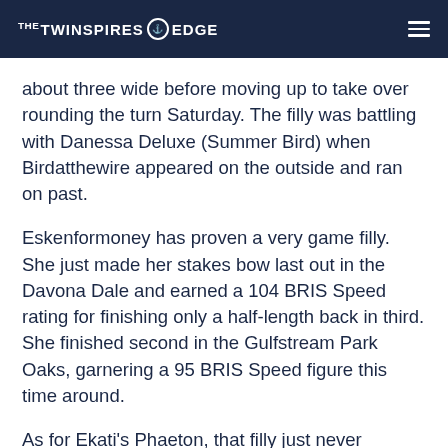THE TWINSPIRES EDGE
about three wide before moving up to take over rounding the turn Saturday. The filly was battling with Danessa Deluxe (Summer Bird) when Birdatthewire appeared on the outside and ran on past.
Eskenformoney has proven a very game filly. She just made her stakes bow last out in the Davona Dale and earned a 104 BRIS Speed rating for finishing only a half-length back in third. She finished second in the Gulfstream Park Oaks, garnering a 95 BRIS Speed figure this time around.
As for Ekati's Phaeton, that filly just never seemed comfortable on Saturday. Jockey Luis Saez had a